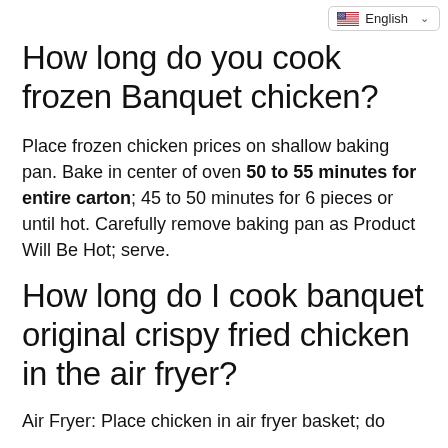English
How long do you cook frozen Banquet chicken?
Place frozen chicken prices on shallow baking pan. Bake in center of oven 50 to 55 minutes for entire carton; 45 to 50 minutes for 6 pieces or until hot. Carefully remove baking pan as Product Will Be Hot; serve.
How long do I cook banquet original crispy fried chicken in the air fryer?
Air Fryer: Place chicken in air fryer basket; do